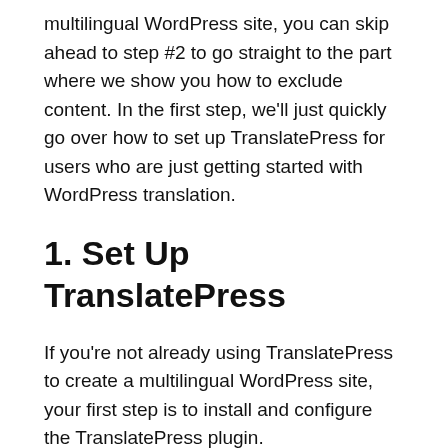multilingual WordPress site, you can skip ahead to step #2 to go straight to the part where we show you how to exclude content. In the first step, we'll just quickly go over how to set up TranslatePress for users who are just getting started with WordPress translation.
1. Set Up TranslatePress
If you're not already using TranslatePress to create a multilingual WordPress site, your first step is to install and configure the TranslatePress plugin.
Here's how to do that:
1. Install and activate the free TranslatePress plugin from WordPress.org.
2. Go to Settings → TranslatePress to open the settings